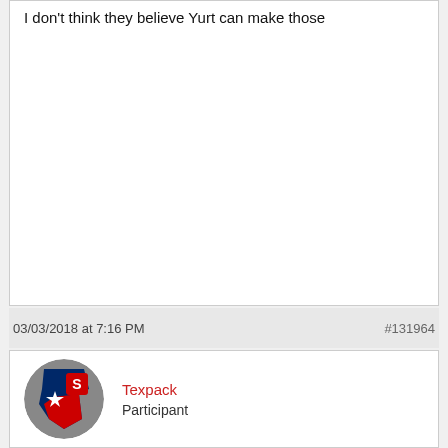I don't think they believe Yurt can make those
03/03/2018 at 7:16 PM
#131964
[Figure (illustration): Circular avatar image showing a Texas state outline with a white star and an NC State 'S' logo overlaid, gray background]
Texpack
Participant